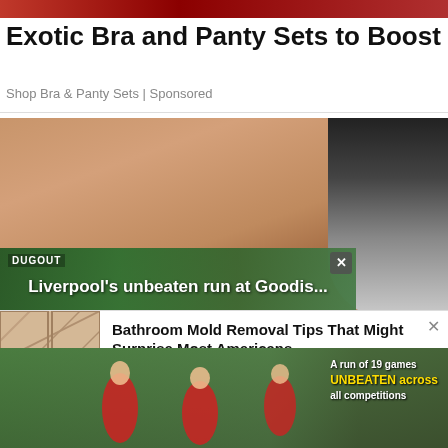[Figure (photo): Cropped photo strip at top, appears to be clothing/fashion ad]
Exotic Bra and Panty Sets to Boost Your Con
Shop Bra & Panty Sets | Sponsored
[Figure (photo): Close-up photo of human skin/hand with lamp in background]
[Figure (screenshot): Dugout video overlay showing Liverpool's unbeaten run at Goodis... with close button]
[Figure (photo): Mold removal ad image showing bathroom tiles with pink glove]
Bathroom Mold Removal Tips That Might Surprise Most Americans
Mold Removal | Search Ads | Sponsored
[Figure (photo): Soccer/football players on pitch with text overlay: A run of 19 games UNBEATEN across all competitions]